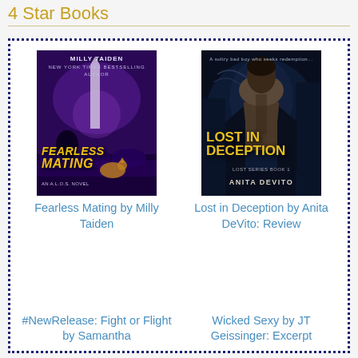4 Star Books
[Figure (illustration): Book cover: Fearless Mating by Milly Taiden - dark purple background with Washington Monument, featuring title in yellow italic text]
Fearless Mating by Milly Taiden
[Figure (illustration): Book cover: Lost in Deception by Anita DeVito - dark blue background with shirtless male figure, title in yellow bold text]
Lost in Deception by Anita DeVito: Review
#NewRelease: Fight or Flight by Samantha
Wicked Sexy by JT Geissinger: Excerpt